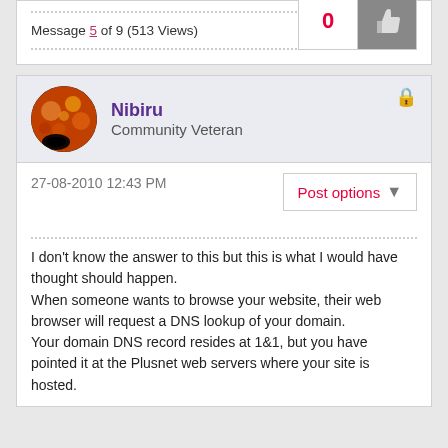Message 5 of 9 (513 Views)
[Figure (other): Kudos box showing count 0 with thumbs up button]
Nibiru
Community Veteran
[Figure (photo): User avatar: orange and black circular avatar for Nibiru]
27-08-2010 12:43 PM
Post options
I don't know the answer to this but this is what I would have thought should happen.
When someone wants to browse your website, their web browser will request a DNS lookup of your domain.
Your domain DNS record resides at 1&1, but you have pointed it at the Plusnet web servers where your site is hosted.